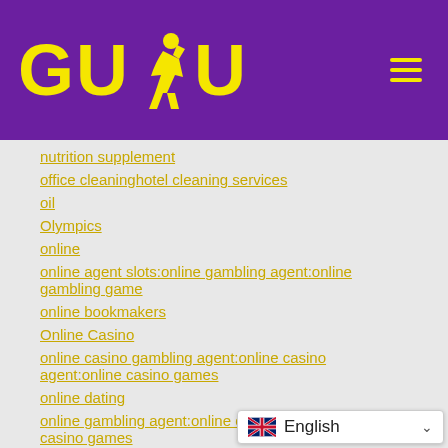[Figure (logo): GUDU logo with yellow text on purple background and runner silhouette icon, plus hamburger menu icon]
nutrition supplement
office cleaninghotel cleaning services
oil
Olympics
online
online agent slots:online gambling agent:online gambling game
online bookmakers
Online Casino
online casino gambling agent:online casino agent:online casino games
online dating
online gambling agent:online casino agent:online casino games
online gambling agent:online lottery agent: